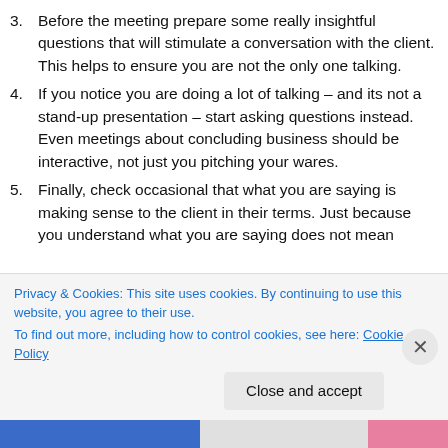3. Before the meeting prepare some really insightful questions that will stimulate a conversation with the client. This helps to ensure you are not the only one talking.
4. If you notice you are doing a lot of talking – and its not a stand-up presentation – start asking questions instead. Even meetings about concluding business should be interactive, not just you pitching your wares.
5. Finally, check occasional that what you are saying is making sense to the client in their terms. Just because you understand what you are saying does not mean
Privacy & Cookies: This site uses cookies. By continuing to use this website, you agree to their use.
To find out more, including how to control cookies, see here: Cookie Policy
Close and accept